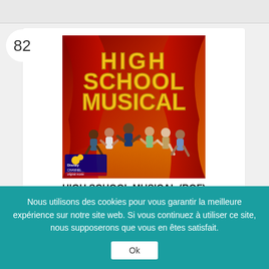82
[Figure (photo): Album cover for High School Musical (BOF) — Disney Channel Original Movie. Bold yellow marquee-light letters spell HIGH SCHOOL MUSICAL over a red curtain background, with cast members jumping and celebrating in the foreground. Disney Channel logo visible at lower left.]
HIGH SCHOOL MUSICAL (BOF)
BOF
EMI MARKETING
Nous utilisons des cookies pour vous garantir la meilleure expérience sur notre site web. Si vous continuez à utiliser ce site, nous supposerons que vous en êtes satisfait.
Ok